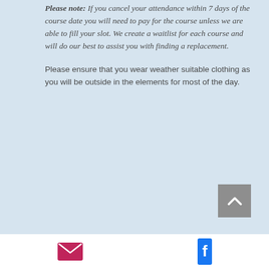Please note: If you cancel your attendance within 7 days of the course date you will need to pay for the course unless we are able to fill your slot. We create a waitlist for each course and will do our best to assist you with finding a replacement.
Please ensure that you wear weather suitable clothing as you will be outside in the elements for most of the day.
[Figure (other): Scroll-to-top button: grey square with white upward chevron arrow]
Email icon and Facebook icon in footer bar